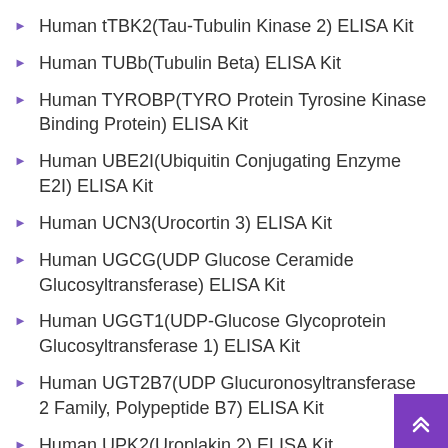Human tTBK2(Tau-Tubulin Kinase 2) ELISA Kit
Human TUBb(Tubulin Beta) ELISA Kit
Human TYROBP(TYRO Protein Tyrosine Kinase Binding Protein) ELISA Kit
Human UBE2I(Ubiquitin Conjugating Enzyme E2I) ELISA Kit
Human UCN3(Urocortin 3) ELISA Kit
Human UGCG(UDP Glucose Ceramide Glucosyltransferase) ELISA Kit
Human UGGT1(UDP-Glucose Glycoprotein Glucosyltransferase 1) ELISA Kit
Human UGT2B7(UDP Glucuronosyltransferase 2 Family, Polypeptide B7) ELISA Kit
Human UPK2(Uroplakin 2) ELISA Kit